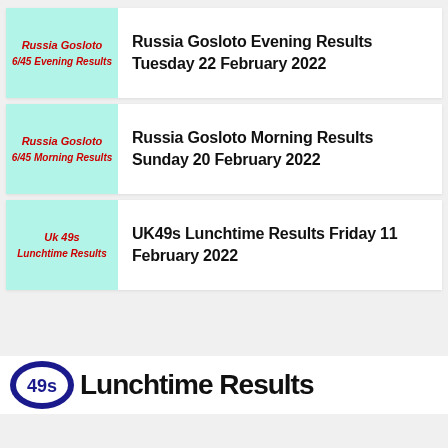Russia Gosloto Evening Results Tuesday 22 February 2022
Russia Gosloto Morning Results Sunday 20 February 2022
UK49s Lunchtime Results Friday 11 February 2022
[Figure (logo): Partially visible logo with a circular emblem and text beginning with 49s or similar lottery branding]